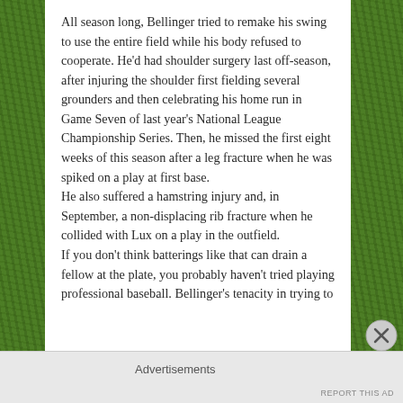All season long, Bellinger tried to remake his swing to use the entire field while his body refused to cooperate. He'd had shoulder surgery last off-season, after injuring the shoulder first fielding several grounders and then celebrating his home run in Game Seven of last year's National League Championship Series. Then, he missed the first eight weeks of this season after a leg fracture when he was spiked on a play at first base.
He also suffered a hamstring injury and, in September, a non-displacing rib fracture when he collided with Lux on a play in the outfield.
If you don't think batterings like that can drain a fellow at the plate, you probably haven't tried playing professional baseball. Bellinger's tenacity in trying to
Advertisements